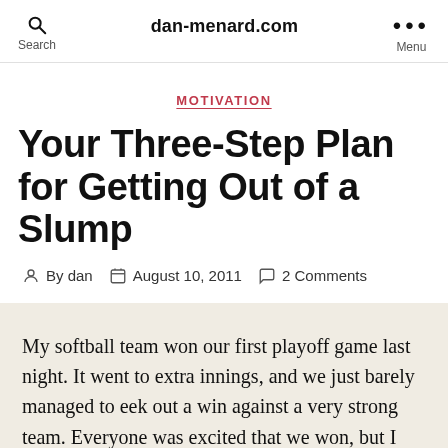dan-menard.com
MOTIVATION
Your Three-Step Plan for Getting Out of a Slump
By dan   August 10, 2011   2 Comments
My softball team won our first playoff game last night. It went to extra innings, and we just barely managed to eek out a win against a very strong team. Everyone was excited that we won, but I was a little more thankful than